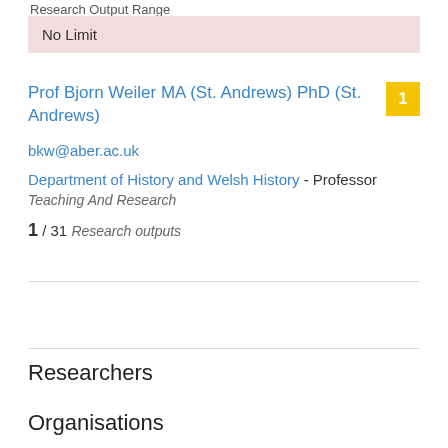Research Output Range
No Limit
Prof Bjorn Weiler MA (St. Andrews) PhD (St. Andrews)
bkw@aber.ac.uk
Department of History and Welsh History - Professor
Teaching And Research
1 / 31 Research outputs
Researchers
Organisations